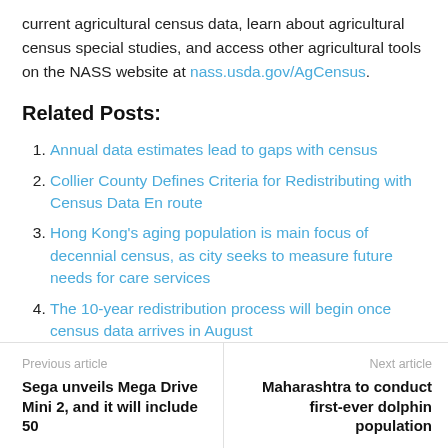current agricultural census data, learn about agricultural census special studies, and access other agricultural tools on the NASS website at nass.usda.gov/AgCensus.
Related Posts:
Annual data estimates lead to gaps with census
Collier County Defines Criteria for Redistributing with Census Data En route
Hong Kong's aging population is main focus of decennial census, as city seeks to measure future needs for care services
The 10-year redistribution process will begin once census data arrives in August
Previous article: Sega unveils Mega Drive Mini 2, and it will include 50 | Next article: Maharashtra to conduct first-ever dolphin population